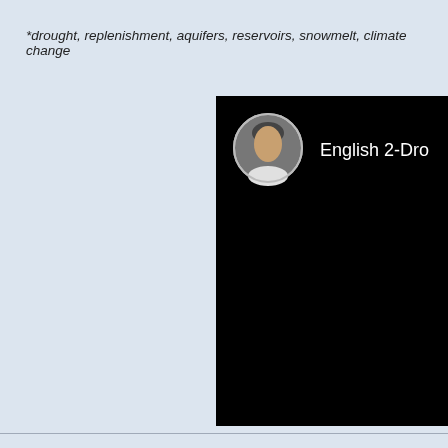*drought, replenishment, aquifers, reservoirs, snowmelt, climate change
[Figure (screenshot): A video thumbnail or YouTube channel panel with a black background, showing a circular avatar of a man and the partial channel name 'English 2-Dro']